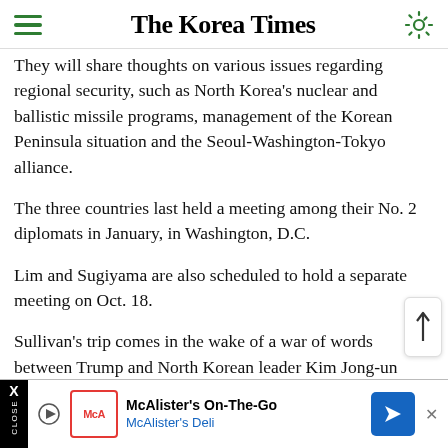The Korea Times
They will share thoughts on various issues regarding regional security, such as North Korea's nuclear and ballistic missile programs, management of the Korean Peninsula situation and the Seoul-Washington-Tokyo alliance.
The three countries last held a meeting among their No. 2 diplomats in January, in Washington, D.C.
Lim and Sugiyama are also scheduled to hold a separate meeting on Oct. 18.
Sullivan's trip comes in the wake of a war of words between Trump and North Korean leader Kim Jong-un
[Figure (other): McAlister's On-The-Go advertisement banner with McAlister's Deli logo and navigation arrow]